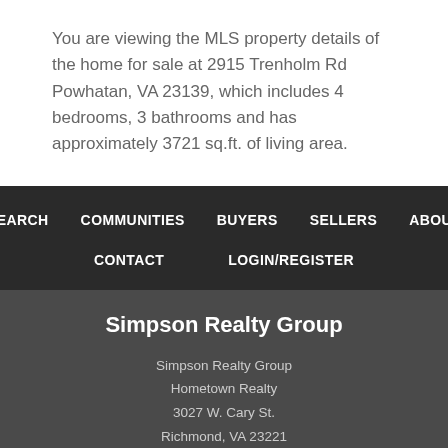You are viewing the MLS property details of the home for sale at 2915 Trenholm Rd Powhatan, VA 23139, which includes 4 bedrooms, 3 bathrooms and has approximately 3721 sq.ft. of living area.
SEARCH  COMMUNITIES  BUYERS  SELLERS  ABOUT  CONTACT  LOGIN/REGISTER
Simpson Realty Group
Simpson Realty Group
Hometown Realty
3027 W. Cary St.
Richmond, VA 23221
M: (804) 387-8734